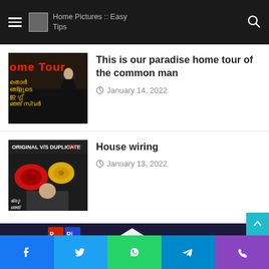Home Pictures :: Easy Tips
[Figure (screenshot): Thumbnail image for 'home tour' video with Malayalam text and a woman standing]
This is our paradise home tour of the common man
January 14, 2022
[Figure (screenshot): Thumbnail image for 'house wiring' video showing original vs duplicate cables with Malayalam text]
House wiring
January 13, 2022
[Figure (photo): Night photo of a large white modern house with lit windows and dark sky background]
Facebook  Twitter  WhatsApp  Telegram  Phone